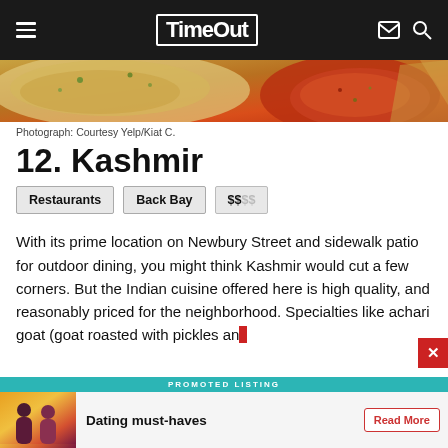Time Out
[Figure (photo): Food photo showing naan bread and curry/tomato sauce dish]
Photograph: Courtesy Yelp/Kiat C.
12. Kashmir
Restaurants
Back Bay
$$$$
With its prime location on Newbury Street and sidewalk patio for outdoor dining, you might think Kashmir would cut a few corners. But the Indian cuisine offered here is high quality, and reasonably priced for the neighborhood. Specialties like achari goat (goat roasted with pickles and...
[Figure (infographic): Promoted listing advertisement: Dating must-haves with Read More button]